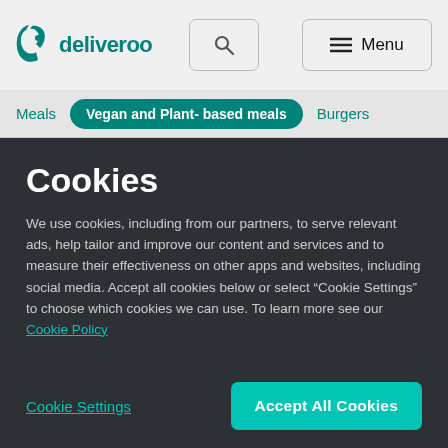[Figure (logo): Deliveroo logo with kangaroo icon and wordmark in teal]
[Figure (screenshot): Navigation bar with Meals, Vegan and Plant-based meals (active), Burgers tabs]
Cookies
We use cookies, including from our partners, to serve relevant ads, help tailor and improve our content and services and to measure their effectiveness on other apps and websites, including social media. Accept all cookies below or select “Cookie Settings” to choose which cookies we can use. To learn more see our Cookie Policy
Cookie Settings
Accept All Cookies